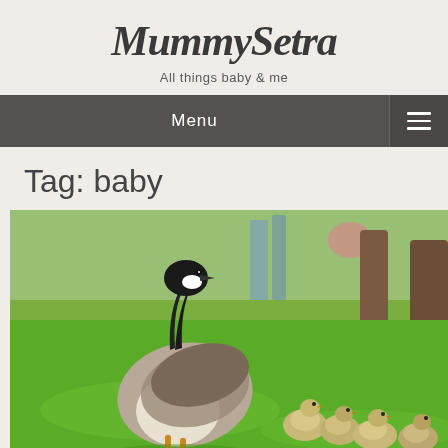MummySetra
All things baby & me
Menu
Tag: baby
[Figure (photo): A Canada goose standing on green grass in a park, with several goslings (baby geese) behind it to the right. Trees and a blurred urban background are visible.]